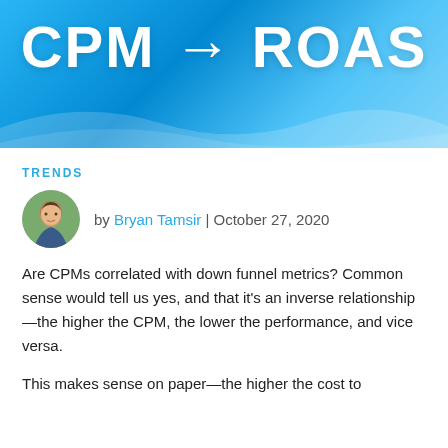[Figure (illustration): Blue gradient banner image with white bold text reading 'CPM → ROAS' with arrow symbols, on a bright blue sky-like background with wave shapes at the bottom.]
TRENDS
by Bryan Tamsir | October 27, 2020
Are CPMs correlated with down funnel metrics? Common sense would tell us yes, and that it's an inverse relationship—the higher the CPM, the lower the performance, and vice versa.
This makes sense on paper—the higher the cost to